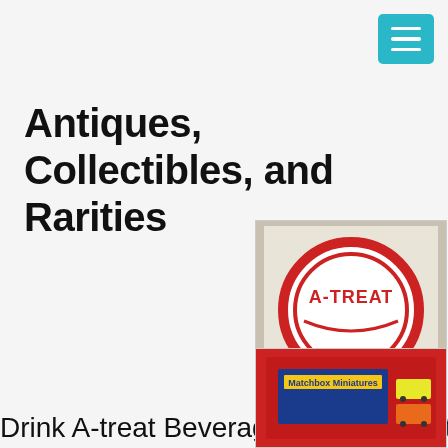Antiques, Collectibles, and Rarities
[Figure (photo): A circular embroidered patch reading A-TREAT with red border on white background]
Drink A-treat Beverages Patch Allentown Pa - $24.99
Drink A-treat Beverages Patch Allentown Pa
[Figure (photo): A red tin box containing Matchbox Miniatures collectible toy cars]